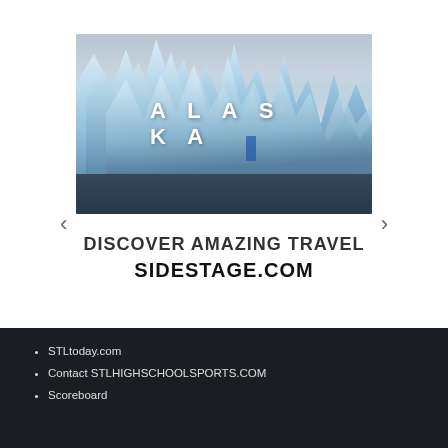SIDESTAGE.COM
[Figure (photo): Glacier ice formations with the word ALASKA overlaid in white text, with navigation arrows on either side]
DISCOVER AMAZING TRAVEL SIDESTAGE.COM
STLtoday.com
Contact STLHIGHSCHOOLSPORTS.COM
Scoreboard